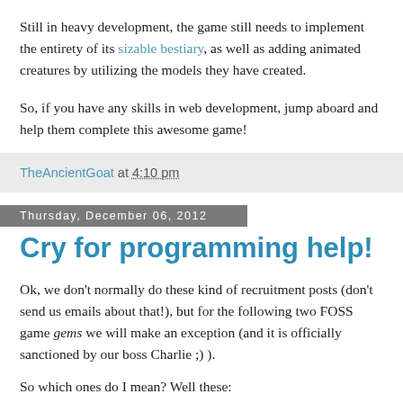Still in heavy development, the game still needs to implement the entirety of its sizable bestiary, as well as adding animated creatures by utilizing the models they have created.
So, if you have any skills in web development, jump aboard and help them complete this awesome game!
TheAncientGoat at 4:10 pm
Thursday, December 06, 2012
Cry for programming help!
Ok, we don't normally do these kind of recruitment posts (don't send us emails about that!), but for the following two FOSS game gems we will make an exception (and it is officially sanctioned by our boss Charlie ;) ).
So which ones do I mean? Well these: